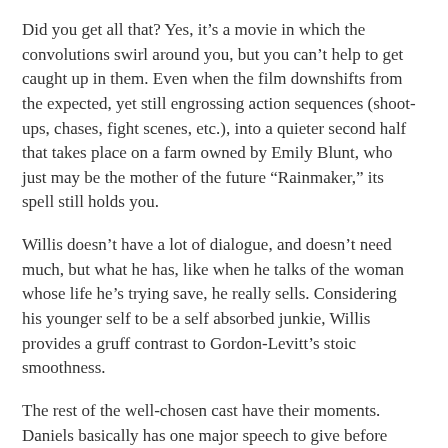Did you get all that? Yes, it's a movie in which the convolutions swirl around you, but you can't help to get caught up in them. Even when the film downshifts from the expected, yet still engrossing action sequences (shoot-ups, chases, fight scenes, etc.), into a quieter second half that takes place on a farm owned by Emily Blunt, who just may be the mother of the future “Rainmaker,” its spell still holds you.
Willis doesn’t have a lot of dialogue, and doesn’t need much, but what he has, like when he talks of the woman whose life he’s trying save, he really sells. Considering his younger self to be a self absorbed junkie, Willis provides a gruff contrast to Gordon-Levitt’s stoic smoothness.
The rest of the well-chosen cast have their moments. Daniels basically has one major speech to give before spending the rest of the movie as an order barking heavy, but he pulls off both superbly.